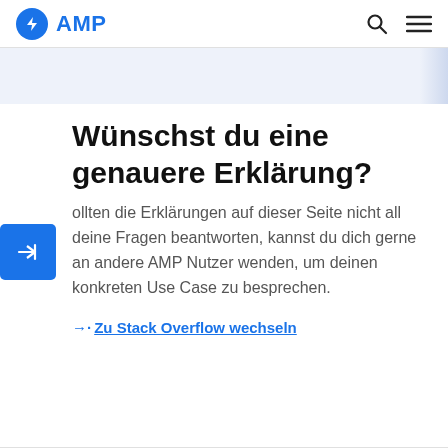AMP
Wünschst du eine genauere Erklärung?
Sollten die Erklärungen auf dieser Seite nicht all deine Fragen beantworten, kannst du dich gerne an andere AMP Nutzer wenden, um deinen konkreten Use Case zu besprechen.
→· Zu Stack Overflow wechseln